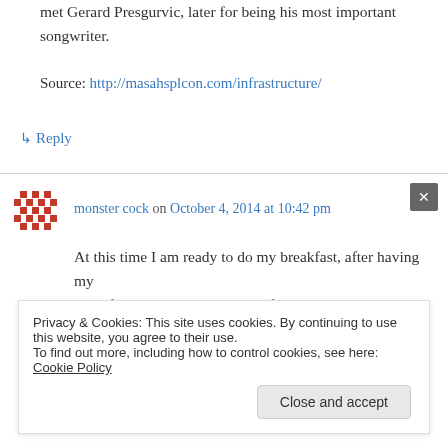met Gerard Presgurvic, later for being his most important songwriter.
Source: http://masahsplcon.com/infrastructure/
↳ Reply
monster cock on October 4, 2014 at 10:42 pm
At this time I am ready to do my breakfast, after having my breakfast coming again to read further news.
Privacy & Cookies: This site uses cookies. By continuing to use this website, you agree to their use. To find out more, including how to control cookies, see here: Cookie Policy